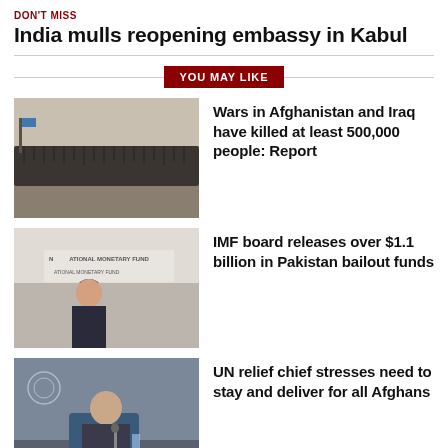DON'T MISS
India mulls reopening embassy in Kabul
YOU MAY LIKE
Wars in Afghanistan and Iraq have killed at least 500,000 people: Report
IMF board releases over $1.1 billion in Pakistan bailout funds
UN relief chief stresses need to stay and deliver for all Afghans
Uzbek, German presidents set to continue